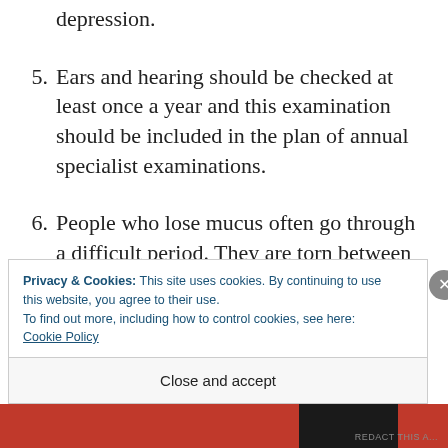depression.
5. Ears and hearing should be checked at least once a year and this examination should be included in the plan of annual specialist examinations.
6. People who lose mucus often go through a difficult period. They are torn between not accepting reality, hiding problems from
Privacy & Cookies: This site uses cookies. By continuing to use this website, you agree to their use.
To find out more, including how to control cookies, see here: Cookie Policy
Close and accept